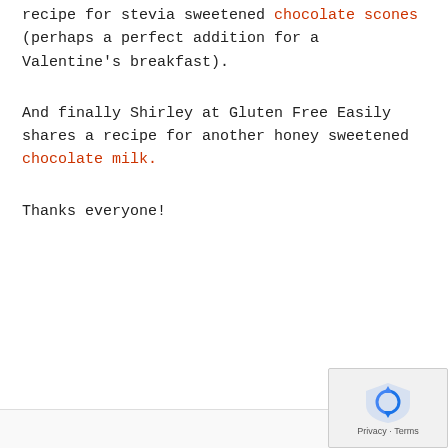recipe for stevia sweetened chocolate scones (perhaps a perfect addition for a Valentine's breakfast).
And finally Shirley at Gluten Free Easily shares a recipe for another honey sweetened chocolate milk.
Thanks everyone!
[Figure (logo): reCAPTCHA badge with blue shield/checkmark icon and Privacy + Terms text]